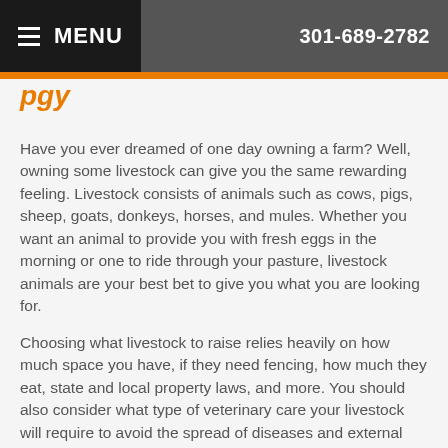MENU   301-689-2782
Have you ever dreamed of one day owning a farm? Well, owning some livestock can give you the same rewarding feeling. Livestock consists of animals such as cows, pigs, sheep, goats, donkeys, horses, and mules. Whether you want an animal to provide you with fresh eggs in the morning or one to ride through your pasture, livestock animals are your best bet to give you what you are looking for.
Choosing what livestock to raise relies heavily on how much space you have, if they need fencing, how much they eat, state and local property laws, and more. You should also consider what type of veterinary care your livestock will require to avoid the spread of diseases and external parasites. Your veterinarian can recommend the best vaccinations for your livestock so they stay as healthy as possible. Continue to the articles below to learn how you should care for each livestock animal.